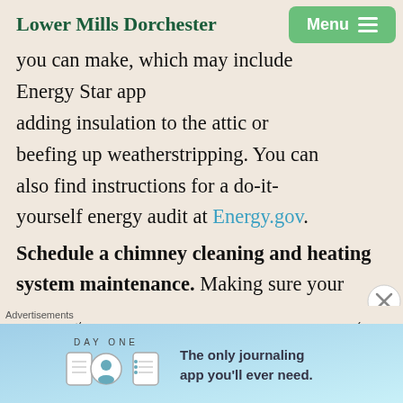Lower Mills Dorchester
you can make, which may include Energy Star apps, adding insulation to the attic or beefing up weatherstripping. You can also find instructions for a do-it-yourself energy audit at Energy.gov.
Schedule a chimney cleaning and heating system maintenance.
Making sure your chimney and furnace or boiler are cleaned, maintained and in working order before you need to turn—
Advertisements
[Figure (infographic): Day One journaling app advertisement banner with icons and text 'The only journaling app you'll ever need.']